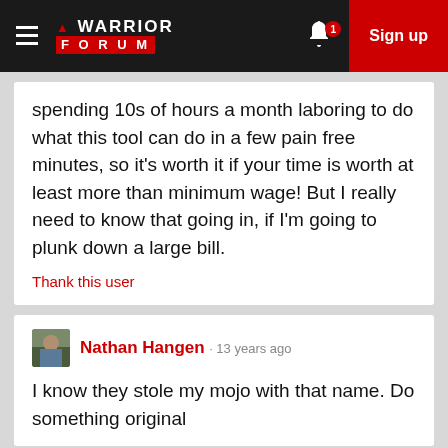Warrior Forum — Sign up
spending 10s of hours a month laboring to do what this tool can do in a few pain free minutes, so it's worth it if your time is worth at least more than minimum wage! But I really need to know that going in, if I'm going to plunk down a large bill.
Thank this user
Nathan Hangen · 13 years ago
I know they stole my mojo with that name. Do something original